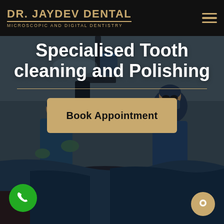DR. JAYDEV DENTAL | MICROSCOPIC AND DIGITAL DENTISTRY
[Figure (photo): Dental surgery scene showing dentists in blue scrubs and gloves working on a patient, with dental microscope equipment visible, dark overlay applied]
Specialised Tooth cleaning and Polishing
Book Appointment